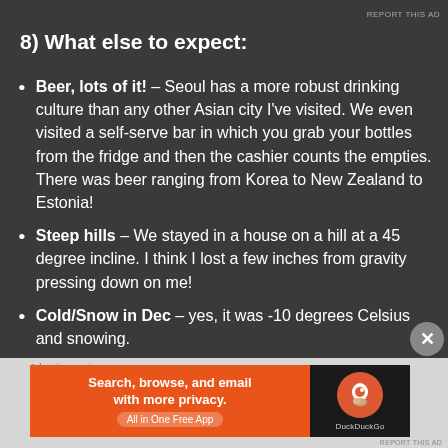8) What else to expect:
Beer, lots of it! – Seoul has a more robust drinking culture than any other Asian city I've visited. We even visited a self-serve bar in which you grab your bottles from the fridge and then the cashier counts the empties. There was beer ranging from Korea to New Zealand to Estonia!
Steep hills – We stayed in a house on a hill at a 45 degree incline. I think I lost a few inches from gravity pressing down on me!
Cold/Snow in Dec – yes, it was -10 degrees Celsius and snowing.
[Figure (infographic): DuckDuckGo advertisement banner: Search, browse, and email with more privacy. All in One Free App. Shows DuckDuckGo logo on dark background.]